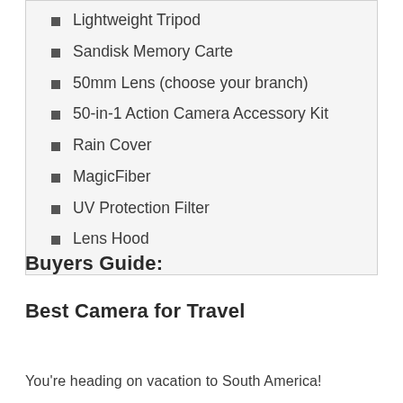Lightweight Tripod
Sandisk Memory Carte
50mm Lens (choose your branch)
50-in-1 Action Camera Accessory Kit
Rain Cover
MagicFiber
UV Protection Filter
Lens Hood
Buyers Guide:
Best Camera for Travel
You're heading on vacation to South America!